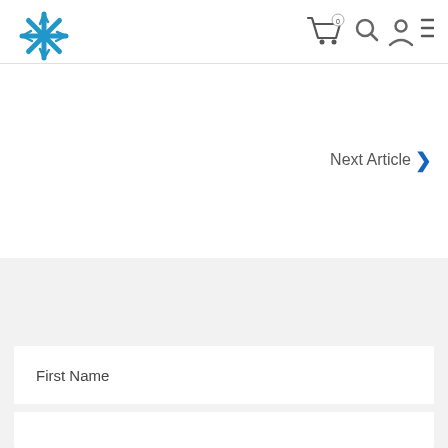[Figure (logo): Blue snowflake/asterisk logo in top-left corner of navigation bar]
[Figure (screenshot): Navigation icons: shopping cart with badge '0', search magnifier, user/account icon, hamburger menu lines]
Next Article ›
First Name